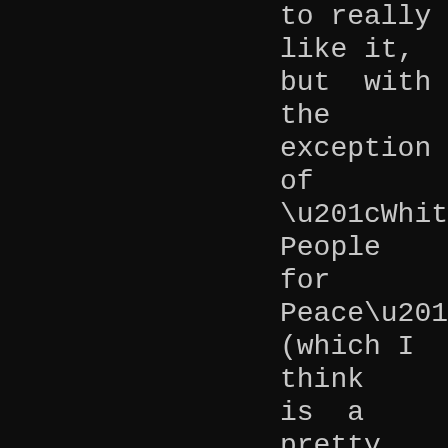to really like it, but with the exception of “White People for Peace” (which I think is a pretty amazing song) it kind of blows. Consider yourself